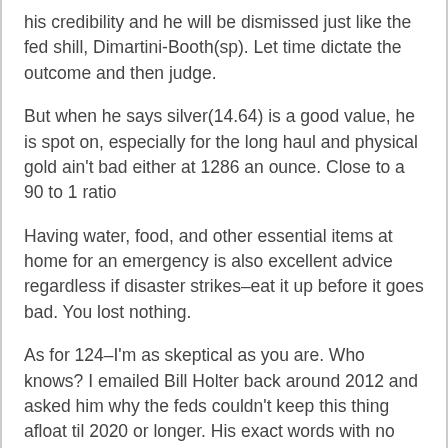his credibility and he will be dismissed just like the fed shill, Dimartini-Booth(sp). Let time dictate the outcome and then judge.
But when he says silver(14.64) is a good value, he is spot on, especially for the long haul and physical gold ain't bad either at 1286 an ounce. Close to a 90 to 1 ratio
Having water, food, and other essential items at home for an emergency is also excellent advice regardless if disaster strikes–eat it up before it goes bad. You lost nothing.
As for 124–I'm as skeptical as you are. Who knows? I emailed Bill Holter back around 2012 and asked him why the feds couldn't keep this thing afloat til 2020 or longer. His exact words with no explanation: “Mathematically impossible.” The rigged financial markets will implode when they are good and ready and no sooner.
Finally, I've been telling people for years the corporations are destroying your physical and mental health thru geoengineering, g-5, wi fi, and GMO's to only name a few. Glyphosate, found in commercially grown crops like canola, sugar beets, corn, cotton,